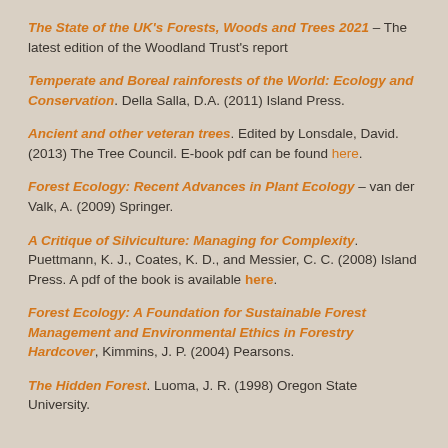The State of the UK's Forests, Woods and Trees 2021 – The latest edition of the Woodland Trust's report
Temperate and Boreal rainforests of the World: Ecology and Conservation. Della Salla, D.A. (2011) Island Press.
Ancient and other veteran trees. Edited by Lonsdale, David. (2013) The Tree Council. E-book pdf can be found here.
Forest Ecology: Recent Advances in Plant Ecology – van der Valk, A. (2009) Springer.
A Critique of Silviculture: Managing for Complexity. Puettmann, K. J., Coates, K. D., and Messier, C. C. (2008) Island Press. A pdf of the book is available here.
Forest Ecology: A Foundation for Sustainable Forest Management and Environmental Ethics in Forestry Hardcover, Kimmins, J. P. (2004) Pearsons.
The Hidden Forest. Luoma, J. R. (1998) Oregon State University.